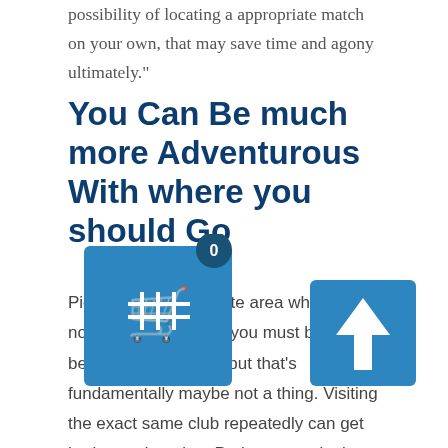possibility of locating a appropriate match on your own, that may save time and agony ultimately."
You Can Be much more Adventurous With where you should Go
Picking a romantic date area when you're not drinking methods you must believe beyond your norm â… but that's fundamentally maybe not a thing. Visiting the exact same club repeatedly can get boring and routine. Perhaps not sipping offers the ch make a move that'll be a brand new k e for both you and your dat oling you to connect on an entire different deg u would not have sensed in a sticky, improperly lit place.